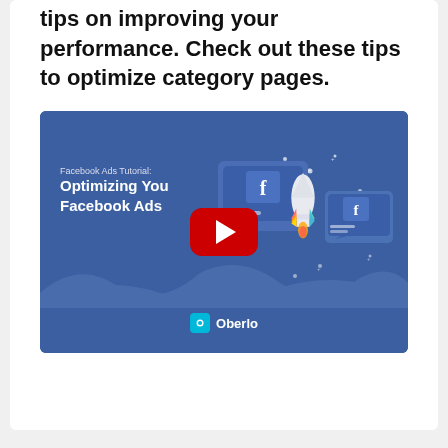tips on improving your performance. Check out these tips to optimize category pages.
[Figure (screenshot): A YouTube video thumbnail for 'Facebook Ads Tutorial: Optimizing Your Facebook Ads' by Oberlo, featuring a blue background with Facebook ad graphics, a rocket illustration, Facebook logo icons, and a red YouTube play button in the center. The Oberlo logo appears at the bottom.]